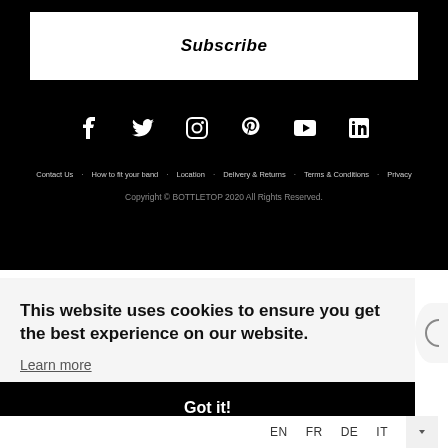Subscribe
[Figure (infographic): Social media icons row: Facebook, Twitter, Instagram, Pinterest, YouTube, LinkedIn]
Contact Us · How to fit your band · Location · Delivery & Returns · Terms & Conditions · Privacy
Copyright © BOTTLETOP 2020 All Rights Reserved.
This website uses cookies to ensure you get the best experience on our website.
Learn more
Got it!
EN FR DE IT